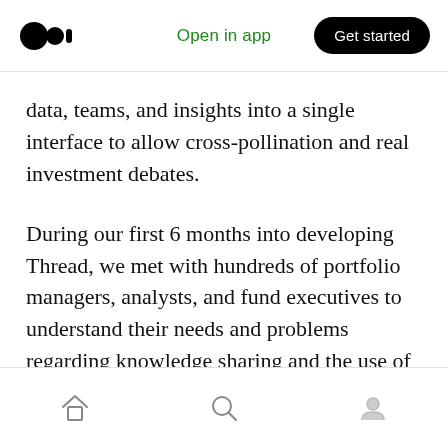Open in app | Get started
data, teams, and insights into a single interface to allow cross-pollination and real investment debates.
During our first 6 months into developing Thread, we met with hundreds of portfolio managers, analysts, and fund executives to understand their needs and problems regarding knowledge sharing and the use of technology to reach better investment decisions. And what we learned to be their biggest blocker surprised us: People.
Home | Search | Profile